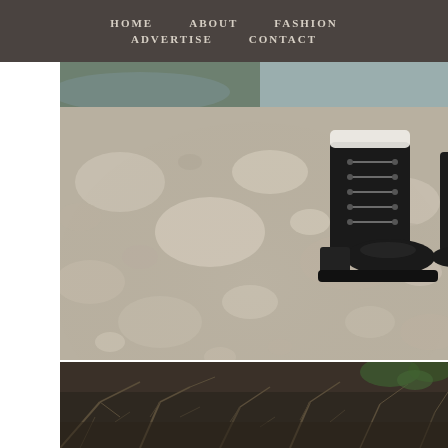HOME   ABOUT   FASHION   ADVERTISE   CONTACT
[Figure (photo): Close-up photo of a black lace-up ankle boot standing on a rocky riverbed with many smooth stones, in an outdoor nature setting with water visible in the background.]
[Figure (photo): Outdoor nature photo showing bare winter branches and sparse vegetation on dark ground, with hints of green foliage in the background.]